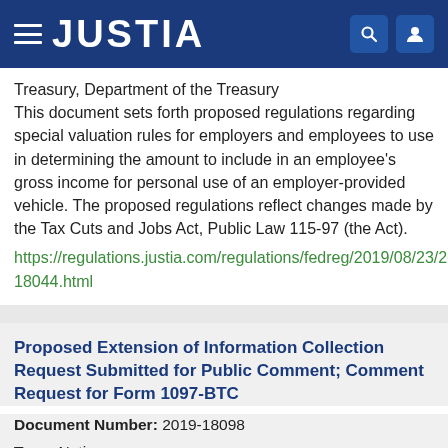JUSTIA
Treasury, Department of the Treasury
This document sets forth proposed regulations regarding special valuation rules for employers and employees to use in determining the amount to include in an employee's gross income for personal use of an employer-provided vehicle. The proposed regulations reflect changes made by the Tax Cuts and Jobs Act, Public Law 115-97 (the Act).
https://regulations.justia.com/regulations/fedreg/2019/08/23/2019-18044.html
Proposed Extension of Information Collection Request Submitted for Public Comment; Comment Request for Form 1097-BTC
Document Number: 2019-18098
Type: Notice